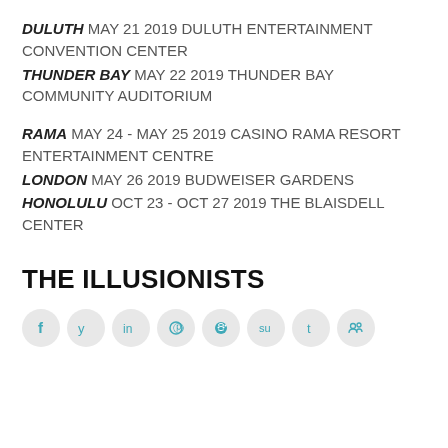DULUTH MAY 21 2019 DULUTH ENTERTAINMENT CONVENTION CENTER
THUNDER BAY MAY 22 2019 THUNDER BAY COMMUNITY AUDITORIUM
RAMA MAY 24 - MAY 25 2019 CASINO RAMA RESORT ENTERTAINMENT CENTRE
LONDON MAY 26 2019 BUDWEISER GARDENS
HONOLULU OCT 23 - OCT 27 2019 THE BLAISDELL CENTER
THE ILLUSIONISTS
[Figure (infographic): Row of 8 social media icon circles (Facebook, Twitter, LinkedIn, Pinterest, Reddit, StumbleUpon, Tumblr, Share) with teal/blue icons on light grey circular backgrounds]